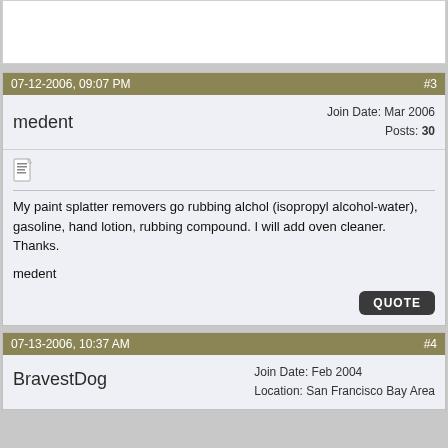07-12-2006, 09:07 PM  #3
medent   Join Date: Mar 2006  Posts: 30
My paint splatter removers go rubbing alchol (isopropyl alcohol-water), gasoline, hand lotion, rubbing compound. I will add oven cleaner. Thanks.

medent
07-13-2006, 10:37 AM  #4
BravestDog   Join Date: Feb 2004  Location: San Francisco Bay Area